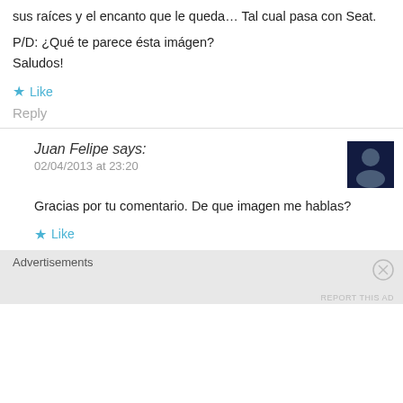sus raíces y el encanto que le queda… Tal cual pasa con Seat.
P/D: ¿Qué te parece ésta imágen?
Saludos!
★ Like
Reply
Juan Felipe says:
02/04/2013 at 23:20
Gracias por tu comentario. De que imagen me hablas?
★ Like
Advertisements